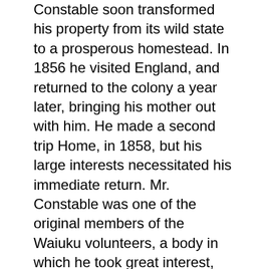Constable soon transformed his property from its wild state to a prosperous homestead. In 1856 he visited England, and returned to the colony a year later, bringing his mother out with him. He made a second trip Home, in 1858, but his large interests necessitated his immediate return. Mr. Constable was one of the original members of the Waiuku volunteers, a body in which he took great interest, and was sworn in by the late Major Speedy, in 1866. During the great depression in 1868 Mr. Constable was amongst the first to start flaxmills, of which he had three, and in that way he afforded help to many who have since then attained prosperity. He was a member of the Road Board from its start, and was for many years chairman of the Waipipi Road Board. Mr. Constable was a...